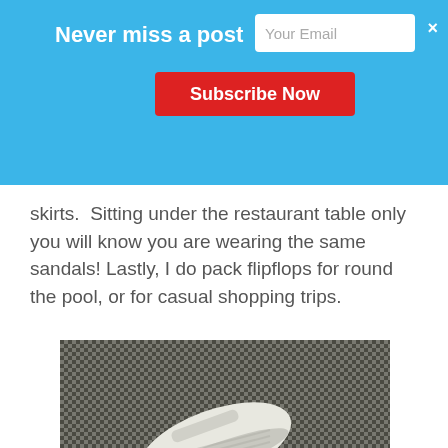[Figure (screenshot): Email subscription banner overlay with light blue background. Contains text 'Never miss a post', an email input field with placeholder 'Your Email', a red 'Subscribe Now' button, and a close (×) button.]
skirts.  Sitting under the restaurant table only you will know you are wearing the same sandals! Lastly, I do pack flipflops for round the pool, or for casual shopping trips.
[Figure (photo): Photo of a pair of white and light grey striped wedge sandals/espadrilles laid on a dark woven fabric or mesh surface.]